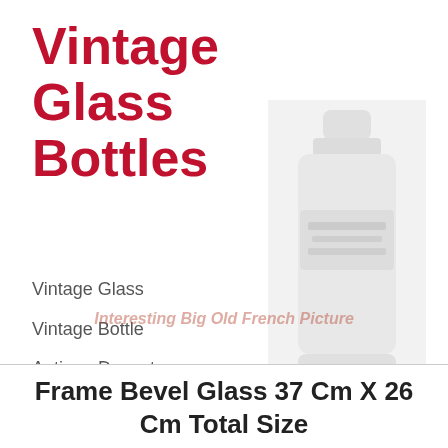Vintage Glass Bottles
Vintage Glass
Vintage Bottle
Antique Decanter
Glass Decanter
Porcelain Decanter
Antique Bottle
[Figure (photo): A tall vintage glass bottle, shown as a faded/watermarked image overlapping the page content]
[Figure (photo): A square/short glass or porcelain decanter, shown as a faded/light blue-grey image]
Interesting Big Old French Picture Frame Bevel Glass 37 Cm X 26 Cm Total Size